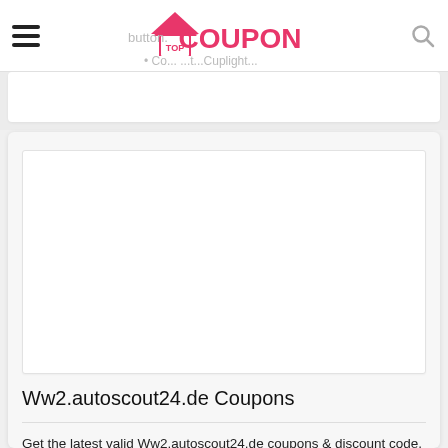TOP COUPON
button.
Co... ...t...Cuplight...
[Figure (screenshot): White empty image placeholder box inside a card on the Top Coupon website]
Ww2.autoscout24.de Coupons
Get the latest valid Ww2.autoscout24.de coupons & discount code. Save more money by using Ww2.autoscout24.de coupon code & deals.